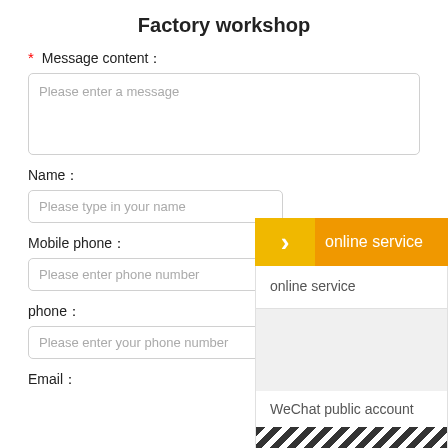Factory workshop
* Message content：
Please enter a message
Name：
Please type in your name
online service
online service
Mobile phone：
Please enter phone number
phone：
Please enter your phone number
WeChat public account
Email：